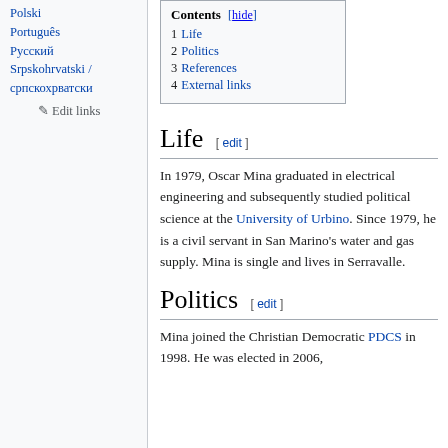Polski
Português
Русский
Srpskohrvatski / српскохрватски
✎ Edit links
| Contents [hide] |  |
| --- | --- |
| 1 | Life |
| 2 | Politics |
| 3 | References |
| 4 | External links |
Life [edit]
In 1979, Oscar Mina graduated in electrical engineering and subsequently studied political science at the University of Urbino. Since 1979, he is a civil servant in San Marino's water and gas supply. Mina is single and lives in Serravalle.
Politics [edit]
Mina joined the Christian Democratic PDCS in 1998. He was elected in 2006,